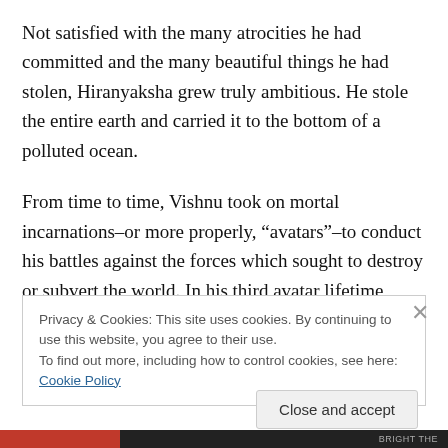Not satisfied with the many atrocities he had committed and the many beautiful things he had stolen, Hiranyaksha grew truly ambitious. He stole the entire earth and carried it to the bottom of a polluted ocean.
From time to time, Vishnu took on mortal incarnations–or more properly, “avatars”–to conduct his battles against the forces which sought to destroy or subvert the world. In his third avatar lifetime, Vishnu appeared in the form of a colossal boar, named Varaha in order to fight Hiranyaksha. Varaha sprang out of Brahma’s nostril as a tiny pig, but he
Privacy & Cookies: This site uses cookies. By continuing to use this website, you agree to their use.
To find out more, including how to control cookies, see here: Cookie Policy
Close and accept